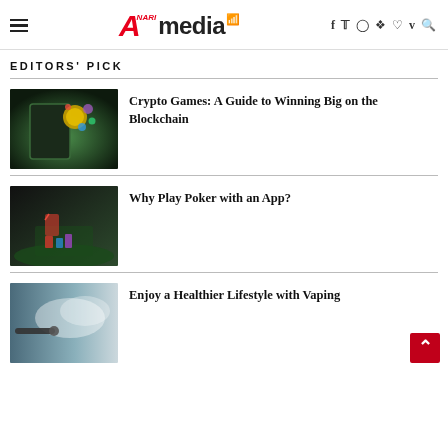NARI Amedia — navigation header with hamburger menu, logo, and social icons
EDITORS' PICK
[Figure (photo): Cryptocurrency gaming image showing bitcoin coin and colorful chips flying from a gaming device]
Crypto Games: A Guide to Winning Big on the Blockchain
[Figure (photo): Poker table with player holding cards, chips and drinks visible on green felt]
Why Play Poker with an App?
[Figure (photo): Person vaping with visible vapor cloud]
Enjoy a Healthier Lifestyle with Vaping